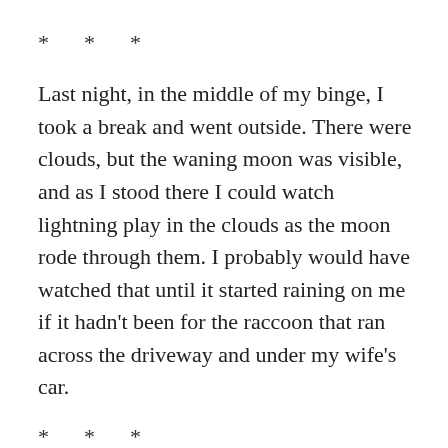* * *
Last night, in the middle of my binge, I took a break and went outside. There were clouds, but the waning moon was visible, and as I stood there I could watch lightning play in the clouds as the moon rode through them. I probably would have watched that until it started raining on me if it hadn't been for the raccoon that ran across the driveway and under my wife's car.
* * *
The grass has not been growing, owing to the lack of rain. With what we got last night, I expect to have to cut it sometime this week, but probably not soon. The